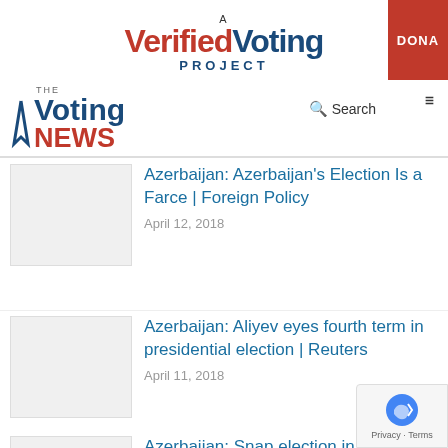A Verified Voting PROJECT
[Figure (logo): The Voting News logo with blue 'Voting' and red 'NEWS' text]
Search
Azerbaijan: Azerbaijan's Election Is a Farce | Foreign Policy
April 12, 2018
Azerbaijan: Aliyev eyes fourth term in presidential election | Reuters
April 11, 2018
Azerbaijan: Snap election in